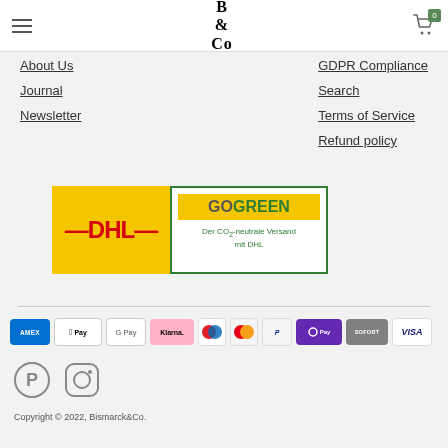B & Co
About Us
Journal
Newsletter
GDPR Compliance
Search
Terms of Service
Refund policy
[Figure (logo): DHL yellow box logo with red DHL text, and GoGreen badge with yellow banner and green border. Caption: Der CO2-neutrale Versand mit DHL]
[Figure (logo): Payment method icons: AMEX, Apple Pay, Google Pay, Klarna, Maestro, Mastercard, PayPal, O Pay, SOFORT, VISA]
[Figure (logo): Pinterest and Instagram social media icons]
Copyright © 2022, Bismarck&Co.